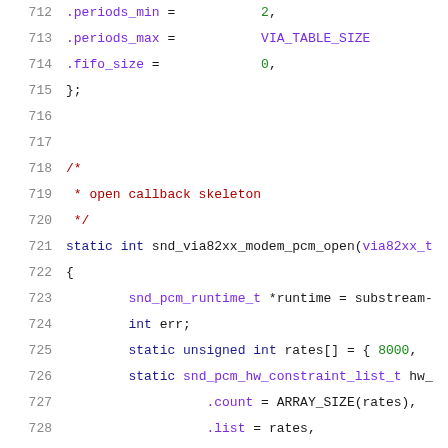712   .periods_min =           2,
713   .periods_max =           VIA_TABLE_SIZE
714   .fifo_size =             0,
715   };
716   
717   
718   /*
719    * open callback skeleton
720    */
721   static int snd_via82xx_modem_pcm_open(via82xx_t
722   {
723         snd_pcm_runtime_t *runtime = substream-
724         int err;
725         static unsigned int rates[] = { 8000,
726         static snd_pcm_hw_constraint_list_t hw_
727                   .count = ARRAY_SIZE(rates),
728                   .list = rates,
729                   .mask = 0,
730         };
731   
732         runtime->hw = snd_via82xx_hw;
733